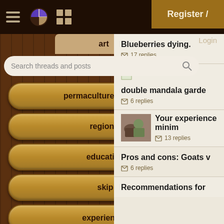[Figure (screenshot): Mobile app screenshot of a permaculture forum. Left sidebar has dark wood texture with navigation buttons: art, permaculture artisans, regional, education, skip, experiences, global resources, cider press. Search bar at top reads 'Search threads and posts'. Right panel shows forum thread list: 'Blueberries dying.' (17 replies), 'double mandala garde...' (6 replies), 'Your experience minim...' (13 replies), 'Pros and cons: Goats v...' (6 replies), 'Recommendations for...' Top right has Register / Login button in golden brown.]